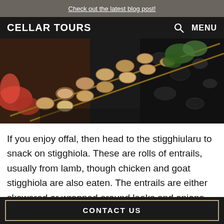Check out the latest blog post!
CELLAR TOURS
[Figure (photo): Close-up photo of grilled meat skewers on a grill with charcoal, vegetables including red peppers and green herbs visible]
If you enjoy offal, then head to the stigghiularu to snack on stigghiola. These are rolls of entrails, usually from lamb, though chicken and goat stigghiola are also eaten. The entrails are either skewered or wrapped around leeks and onions. Stigghiola is served hot off the grill garnished with
CONTACT US